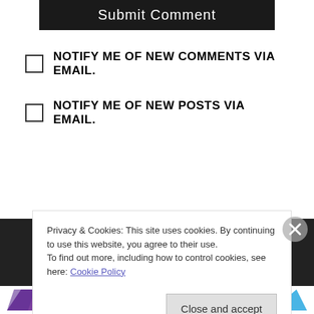[Figure (screenshot): Submit Comment button — dark background with white text]
NOTIFY ME OF NEW COMMENTS VIA EMAIL.
NOTIFY ME OF NEW POSTS VIA EMAIL.
Privacy & Cookies: This site uses cookies. By continuing to use this website, you agree to their use.
To find out more, including how to control cookies, see here: Cookie Policy
Close and accept